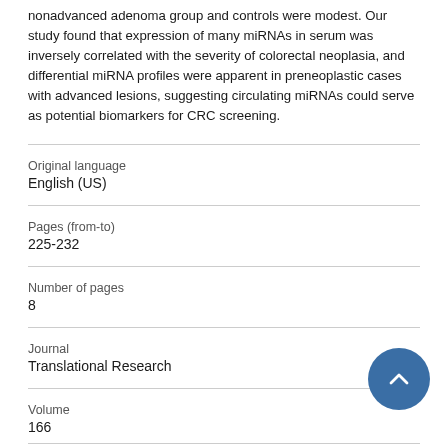nonadvanced adenoma group and controls were modest. Our study found that expression of many miRNAs in serum was inversely correlated with the severity of colorectal neoplasia, and differential miRNA profiles were apparent in preneoplastic cases with advanced lesions, suggesting circulating miRNAs could serve as potential biomarkers for CRC screening.
Original language
English (US)
Pages (from-to)
225-232
Number of pages
8
Journal
Translational Research
Volume
166
Issue number